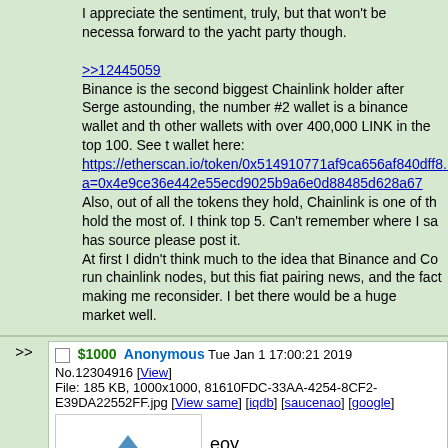I appreciate the sentiment, truly, but that won't be necessary. Looking forward to the yacht party though.
>>12445059
Binance is the second biggest Chainlink holder after Serge astounding, the number #2 wallet is a binance wallet and there are other wallets with over 400,000 LINK in the top 100. See the wallet here:
https://etherscan.io/token/0x514910771af9ca656af840dff8... a=0x4e9ce36e442e55ecd9025b9a6e0d88485d628a67
Also, out of all the tokens they hold, Chainlink is one of the they hold the most of. I think top 5. Can't remember where I saw. If anyone has source please post it.
At first I didn't think much to the idea that Binance and Co run chainlink nodes, but this fiat pairing news, and the fact making me reconsider. I bet there would be a huge market well.
$1000 Anonymous Tue Jan 1 17:00:21 2019
No.12304916 [View]
File: 185 KB, 1000x1000, 81610FDC-33AA-4254-8CF2-E39DA22552FF.jpg [View same] [iqdb] [saucenao] [google]
eoy